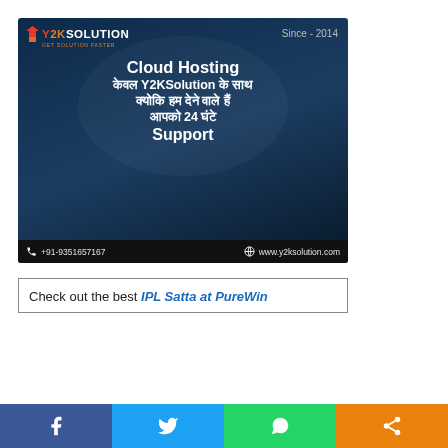[Figure (illustration): Y2KSolution advertisement banner for Cloud Hosting service. Dark blue background with Y2KSolution logo top-left, 'Since - 2014' top-right. Main text in Hindi and English: 'Cloud Hosting केवल Y2KSolution के साथ क्योकि हम देने वाले हैं आपको 24 घंटे Support'. Bottom bar shows phone +91-9351657167 and website www.y2ksolution.com.]
Check out the best IPL Satta at PureWin
[Figure (infographic): Social media share bar with four buttons: Facebook (blue), Twitter (light blue), WhatsApp (green), Share (orange), each with respective icon.]